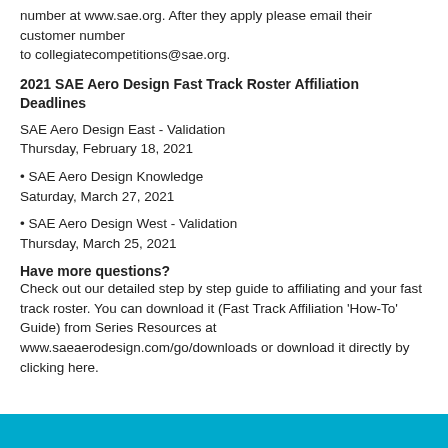number at www.sae.org. After they apply please email their customer number to collegiatecompetitions@sae.org.
2021 SAE Aero Design Fast Track Roster Affiliation Deadlines
SAE Aero Design East - Validation
Thursday, February 18, 2021
• SAE Aero Design Knowledge
Saturday, March 27, 2021
• SAE Aero Design West - Validation
Thursday, March 25, 2021
Have more questions?
Check out our detailed step by step guide to affiliating and your fast track roster. You can download it (Fast Track Affiliation 'How-To' Guide) from Series Resources at www.saeaerodesign.com/go/downloads or download it directly by clicking here.